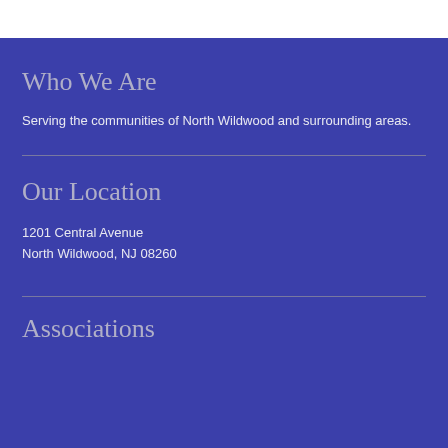Who We Are
Serving the communities of North Wildwood and surrounding areas.
Our Location
1201 Central Avenue
North Wildwood, NJ 08260
Associations